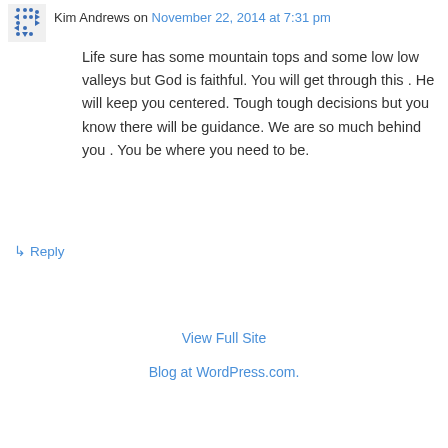[Figure (illustration): Blue pixel/geometric avatar icon for user Kim Andrews]
Kim Andrews on November 22, 2014 at 7:31 pm
Life sure has some mountain tops and some low low valleys but God is faithful. You will get through this . He will keep you centered. Tough tough decisions but you know there will be guidance. We are so much behind you . You be where you need to be.
↳ Reply
View Full Site
Blog at WordPress.com.